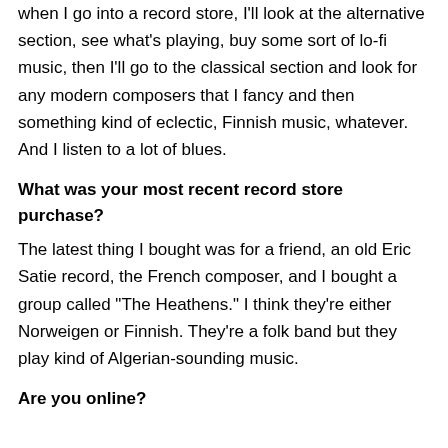when I go into a record store, I'll look at the alternative section, see what's playing, buy some sort of lo-fi music, then I'll go to the classical section and look for any modern composers that I fancy and then something kind of eclectic, Finnish music, whatever. And I listen to a lot of blues.
What was your most recent record store purchase?
The latest thing I bought was for a friend, an old Eric Satie record, the French composer, and I bought a group called "The Heathens." I think they're either Norweigen or Finnish. They're a folk band but they play kind of Algerian-sounding music.
Are you online?